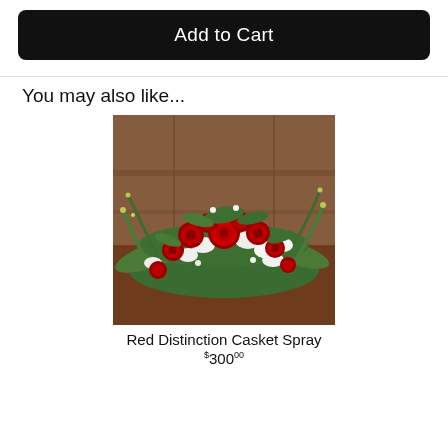Add to Cart
You may also like...
[Figure (photo): A large red rose and white flower casket spray arrangement with greenery, displayed on a wooden surface with wood-paneled background.]
Red Distinction Casket Spray
$30000